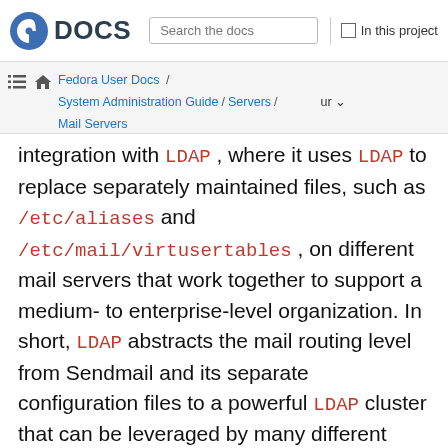DOCS | Search the docs | In this project
Fedora User Docs / System Administration Guide / Servers / Mail Servers | ur
integration with LDAP , where it uses LDAP to replace separately maintained files, such as /etc/aliases and /etc/mail/virtusertables , on different mail servers that work together to support a medium- to enterprise-level organization. In short, LDAP abstracts the mail routing level from Sendmail and its separate configuration files to a powerful LDAP cluster that can be leveraged by many different applications.
The current version of Sendmail contains support for LDAP . To extend the Sendmail server using